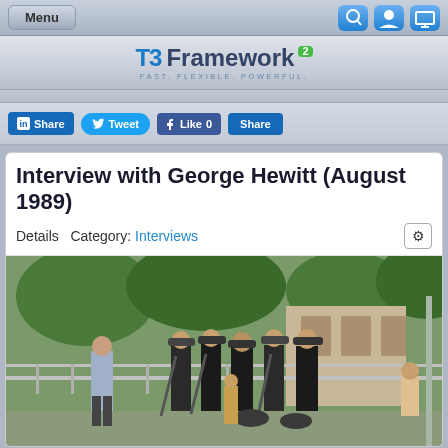Menu | Search | User | Display icons
[Figure (logo): T3 Framework 2 logo with tagline FAST. FLEXIBLE. POWERFUL.]
Share  Tweet  Like 0  Share (social media buttons)
Interview with George Hewitt (August 1989)
Details  Category: Interviews
[Figure (photo): A group of soldiers in dark uniforms carrying weapons, interacting with civilians including children, outdoors near a fence and building, August 1989.]